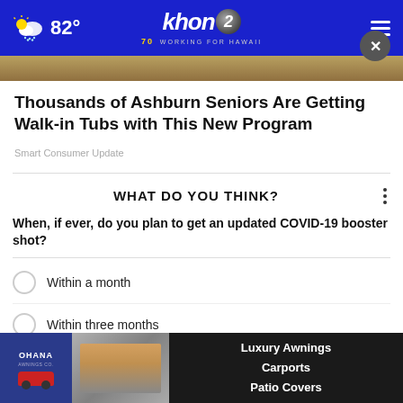khon2 WORKING FOR HAWAII | 82° weather | Navigation menu
[Figure (photo): Hero image strip at top of article — outdoor scene with dirt/sand tones]
Thousands of Ashburn Seniors Are Getting Walk-in Tubs with This New Program
Smart Consumer Update
WHAT DO YOU THINK?
When, if ever, do you plan to get an updated COVID-19 booster shot?
Within a month
Within three months
Within six months
I don't ever plan to get one
[Figure (advertisement): Advertisement banner: Ohana logo on left with car image, awning/carport photo in middle, black panel on right reading Luxury Awnings, Carports, Patio Covers]